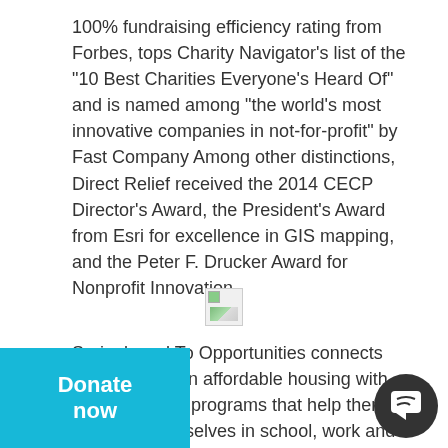100% fundraising efficiency rating from Forbes, tops Charity Navigator's list of the "10 Best Charities Everyone's Heard Of" and is named among "the world's most innovative companies in not-for-profit" by Fast Company Among other distinctions, Direct Relief received the 2014 CECP Director's Award, the President's Award from Esri for excellence in GIS mapping, and the Peter F. Drucker Award for Nonprofit Innovation.
[Figure (other): Broken/missing image placeholder icon]
Springboard To Opportunities connects families living in affordable housing with resources and programs that help them advance themselves in school, work and life. by working directly with families, as we ing strategic partnerships with other ns that help residents achieve their goals.